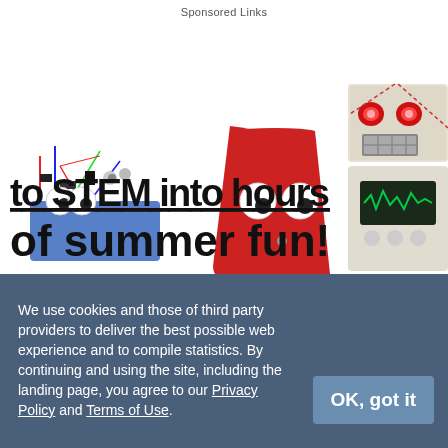Sponsored Links
[Figure (illustration): Science Buddies advertisement banner showing bold text 'of summer fun!' with URL www.sciencebuddies.org, and images of a robot made from electronics, a red cup with googly eyes, and a cardboard robot with glowing red eyes and a screen display.]
We use cookies and those of third party providers to deliver the best possible web experience and to compile statistics. By continuing and using the site, including the landing page, you agree to our Privacy Policy and Terms of Use.